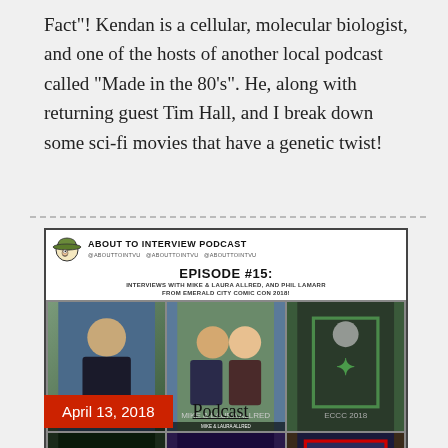Fact"! Kendan is a cellular, molecular biologist, and one of the hosts of another local podcast called "Made in the 80's". He, along with returning guest Tim Hall, and I break down some sci-fi movies that have a genetic twist!
[Figure (illustration): About To Interview Podcast Episode #15: Interviews with Mike & Laura Allred, and Phil Lamarr from Emerald City Comic Con 2018. Podcast cover art showing the title, episode number, subtitle, social handles, and a 6-panel photo grid with images of guests and comic art including Madman.]
April 13, 2018
Podcast